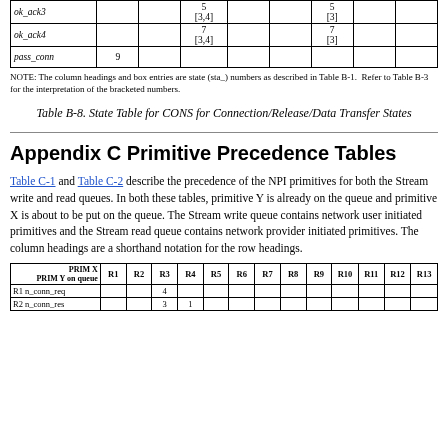|  |  |  |  |  |  |  |  |  |  |  |  |  |
| --- | --- | --- | --- | --- | --- | --- | --- | --- | --- | --- | --- | --- |
| ok_ack3 |  |  | 5
[3,4] |  |  | 5
[3] |  |  |
| ok_ack4 |  |  | 7
[3,4] |  |  | 7
[3] |  |  |
| pass_conn | 9 |  |  |  |  |  |  |  |
NOTE: The column headings and box entries are state (sta_) numbers as described in Table B-1. Refer to Table B-3 for the interpretation of the bracketed numbers.
Table B-8. State Table for CONS for Connection/Release/Data Transfer States
Appendix C Primitive Precedence Tables
Table C-1 and Table C-2 describe the precedence of the NPI primitives for both the Stream write and read queues. In both these tables, primitive Y is already on the queue and primitive X is about to be put on the queue. The Stream write queue contains network user initiated primitives and the Stream read queue contains network provider initiated primitives. The column headings are a shorthand notation for the row headings.
| PRIM X / PRIM Y on queue | R1 | R2 | R3 | R4 | R5 | R6 | R7 | R8 | R9 | R10 | R11 | R12 | R13 |
| --- | --- | --- | --- | --- | --- | --- | --- | --- | --- | --- | --- | --- | --- |
| R1 n_conn_req |  |  | 4 |  |  |  |  |  |  |  |  |  |  |
| R2 n_conn_res |  |  | 3 | 1 |  |  |  |  |  |  |  |  |  |